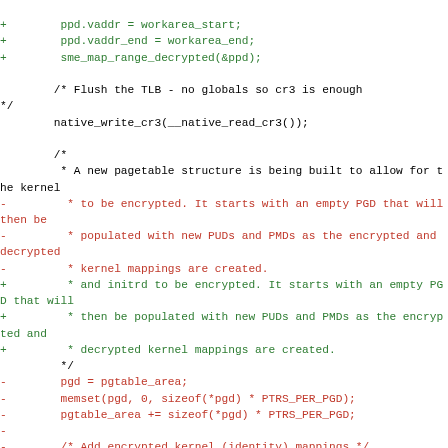Code diff showing changes to SME (Secure Memory Encryption) kernel page table initialization code in C